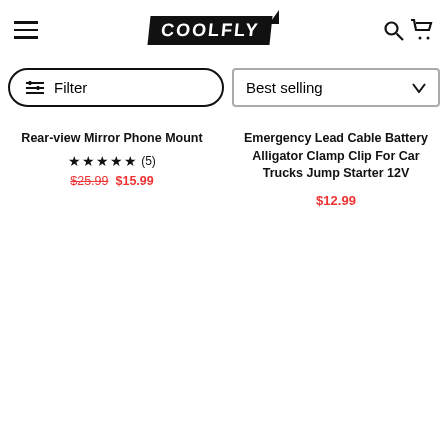COOLFLY — navigation header with hamburger menu, logo, search and cart icons
Filter | Best selling
Rear-view Mirror Phone Mount ★★★★★ (5) $25.99 $15.99
Emergency Lead Cable Battery Alligator Clamp Clip For Car Trucks Jump Starter 12V $12.99